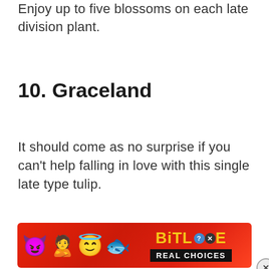Enjoy up to five blossoms on each late division plant.
10. Graceland
It should come as no surprise if you can't help falling in love with this single late type tulip.
[Figure (other): BitLife advertisement banner with emoji characters (devil, person, angel face, sperm emoji), BitLife logo in yellow with question mark and X badges, and 'REAL CHOICES' text on black background]